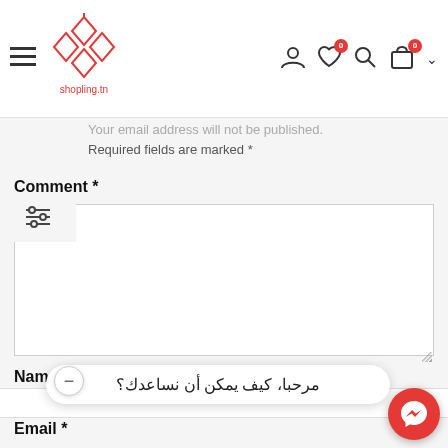[Figure (logo): Shopling.tn logo — red diamond pattern with shopling.tn text]
Your email address will not be published. Required fields are marked *
Comment *
Name *
Email *
مرحبا، كيف يمكن أن نساعدك؟